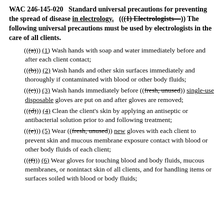WAC 246-145-020   Standard universal precautions for preventing the spread of disease in electrology.   (((1) Electrologists—)) The following universal precautions must be used by electrologists in the care of all clients.
(((a))) (1) Wash hands with soap and water immediately before and after each client contact;
(((b))) (2) Wash hands and other skin surfaces immediately and thoroughly if contaminated with blood or other body fluids;
(((c))) (3) Wash hands immediately before ((fresh, unused)) single-use disposable gloves are put on and after gloves are removed;
(((d))) (4) Clean the client's skin by applying an antiseptic or antibacterial solution prior to and following treatment;
(((e))) (5) Wear ((fresh, unused)) new gloves with each client to prevent skin and mucous membrane exposure contact with blood or other body fluids of each client;
(((f))) (6) Wear gloves for touching blood and body fluids, mucous membranes, or nonintact skin of all clients, and for handling items or surfaces soiled with blood or body fluids;